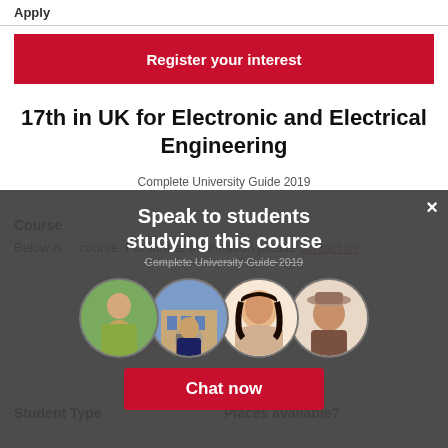Apply
Register your interest
17th in UK for Electronic and Electrical Engineering
Complete University Guide 2019
Course
Below is... course. For further information please contact us.
| Student Type | Places available? |
| --- | --- |
[Figure (screenshot): Modal overlay with chat widget: 'Speak to students studying this course' with four circular student/photo avatars and a red 'Chat now' button and an X close button]